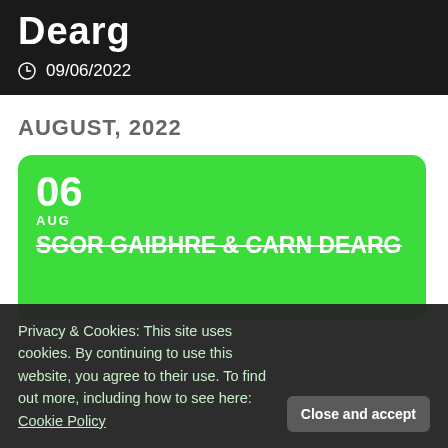Dearg
09/06/2022
AUGUST, 2022
06 AUG SGOR GAIBHRE & CARN DEARG
Privacy & Cookies: This site uses cookies. By continuing to use this website, you agree to their use. To find out more, including how to see here: Cookie Policy
Close and accept